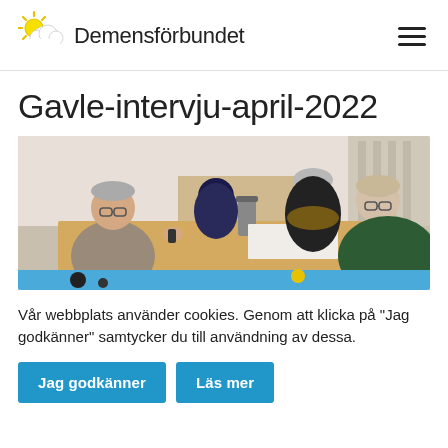Demensförbundet
Gavle-intervju-april-2022
[Figure (photo): Three people sitting around a table in a room, one man on the left holding a small device, two women on the right smiling; a blue bar appears at the bottom of the image]
Vår webbplats använder cookies. Genom att klicka på "Jag godkänner" samtycker du till användning av dessa.
Jag godkänner
Läs mer